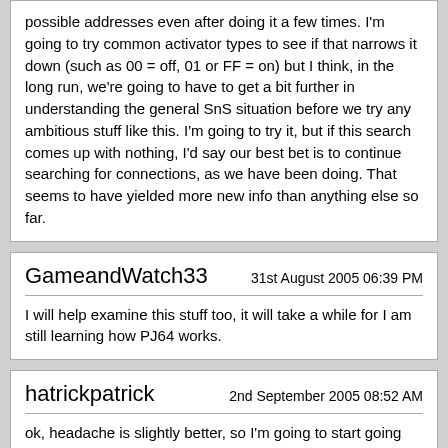possible addresses even after doing it a few times. I'm going to try common activator types to see if that narrows it down (such as 00 = off, 01 or FF = on) but I think, in the long run, we're going to have to get a bit further in understanding the general SnS situation before we try any ambitious stuff like this. I'm going to try it, but if this search comes up with nothing, I'd say our best bet is to continue searching for connections, as we have been doing. That seems to have yielded more new info than anything else so far.
GameandWatch33
31st August 2005 06:39 PM
I will help examine this stuff too, it will take a while for I am still learning how PJ64 works.
hatrickpatrick
2nd September 2005 08:52 AM
ok, headache is slightly better, so I'm going to start going through these codes. I tried the simple 01=on/00=off activator to start, and I have about 20 possibilities. I'll go through them and see if any of them relate to the crypt...
GameandWatch33
2nd September 2005 05:58 PM
Quote: